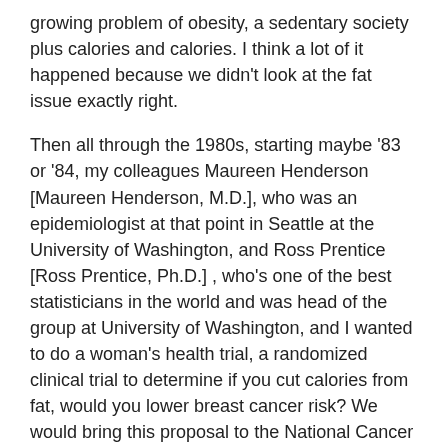growing problem of obesity, a sedentary society plus calories and calories. I think a lot of it happened because we didn't look at the fat issue exactly right.
Then all through the 1980s, starting maybe '83 or '84, my colleagues Maureen Henderson [Maureen Henderson, M.D.], who was an epidemiologist at that point in Seattle at the University of Washington, and Ross Prentice [Ross Prentice, Ph.D.] , who's one of the best statisticians in the world and was head of the group at University of Washington, and I wanted to do a woman's health trial, a randomized clinical trial to determine if you cut calories from fat, would you lower breast cancer risk? We would bring this proposal to the National Cancer Advisory Board (NCAB) time after time after time, and the NCAB would come in loaded to shoot us down. Before I could get out a second sentence, they'd be attacking this idea because they were counting up how many labs you would fund for the $100 million we wanted to do this trial. That went on until Bernadine Healy [Bernadine Healy, M.D., NIH